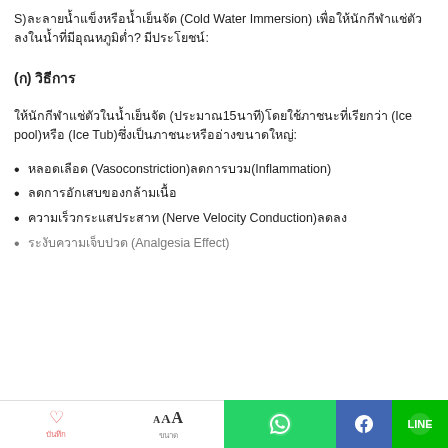S)ละลายน้ำแข็งหรือน้ำเย็นจัด (Cold Water Immersion) เพื่อให้นักกีฬาแช่ตัวลงในน้ำที่มีอุณหภูมิต่ำ? มีประโยชน์:
(ก) วิธีการ
ให้นักกีฬาแช่ตัวในน้ำเย็นจัด (ประมาณ15นาที)โดยใช้ภาชนะที่เรียกว่า (Ice pool)หรือ (Ice Tub)ซึ่งเป็นภาชนะหรืออ่างขนาดใหญ่:
หลอดเลือด (Vasoconstriction)ลดการบวม(Inflammation)
ลดการอักเสบของกล้ามเนื้อ
ความเร็วกระแสประสาท (Nerve Velocity Conduction)ลดลง
ระงับความเจ็บปวด (Analgesia Effect)